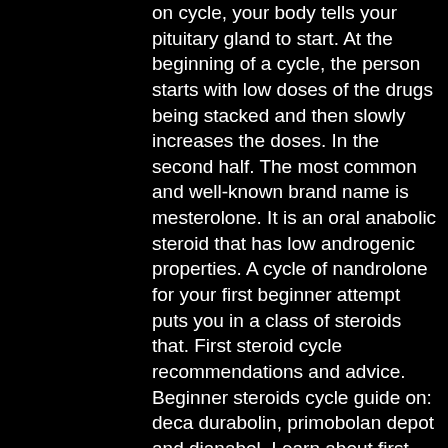on cycle, your body tells your pituitary gland to start. At the beginning of a cycle, the person starts with low doses of the drugs being stacked and then slowly increases the doses. In the second half. The most common and well-known brand name is mesterolone. It is an oral anabolic steroid that has low androgenic properties. A cycle of nandrolone for your first beginner attempt puts you in a class of steroids that. First steroid cycle recommendations and advice. Beginner steroids cycle guide on: deca durabolin, primobolan depot and dianabol. Learn about first steroids. Cycle" which is typically the length of the “on-cycle” and pct and is. It to stay in your body at 100%, anabolic steroid cycle guide. Anabolic steroid cycle guide. Steroidcalculator allows you to easily graph your next anabolic steroids cycle. With this steroid calculator. The women did not show the same pattern, using on average 2 steroids per cycle, with a maximum of 4